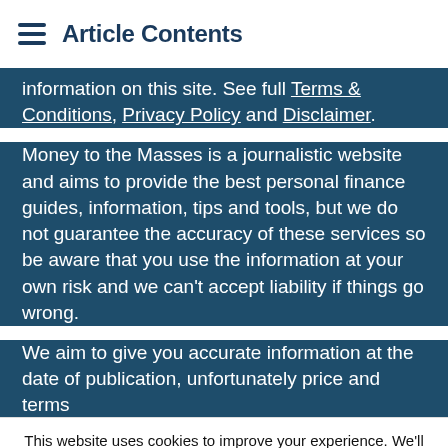Article Contents
information on this site. See full Terms & Conditions, Privacy Policy and Disclaimer.
Money to the Masses is a journalistic website and aims to provide the best personal finance guides, information, tips and tools, but we do not guarantee the accuracy of these services so be aware that you use the information at your own risk and we can't accept liability if things go wrong.
We aim to give you accurate information at the date of publication, unfortunately price and terms
This website uses cookies to improve your experience. We'll assume you're ok with this, but you can opt-out if you wish.